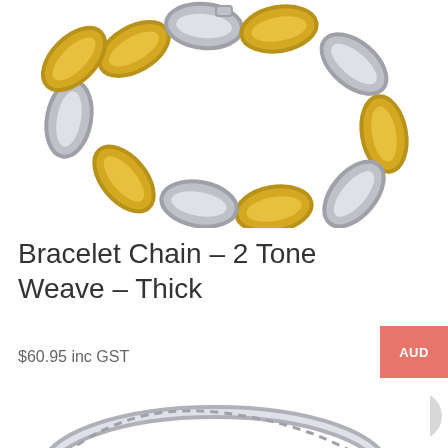[Figure (photo): Two-tone gold and silver chunky chain bracelet shown from above on white background]
Bracelet Chain – 2 Tone Weave – Thick
$60.95 inc GST
[Figure (other): AUD currency selector button in salmon/coral pink color]
[Figure (other): Light gray circular plus button]
[Figure (photo): Silver rope chain bracelet with lobster clasp on white background]